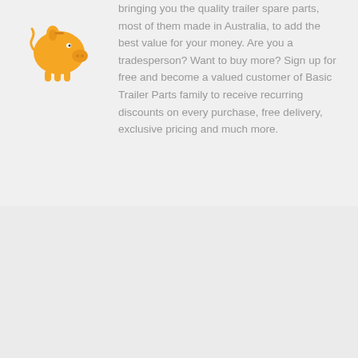[Figure (illustration): Golden/amber piggy bank icon]
bringing you the quality trailer spare parts, most of them made in Australia, to add the best value for your money. Are you a tradesperson? Want to buy more? Sign up for free and become a valued customer of Basic Trailer Parts family to receive recurring discounts on every purchase, free delivery, exclusive pricing and much more.
[Figure (illustration): Golden/amber delivery truck icon with circular arrow button below]
Secure Shipping
Each and every order is carefully packed by our experienced staff. We also offer multiple shipping options to suit your requirement. Want to arrange local pickup? Feel free to contact us.